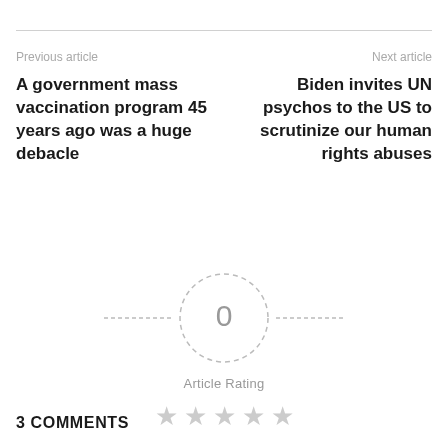Previous article
Next article
A government mass vaccination program 45 years ago was a huge debacle
Biden invites UN psychos to the US to scrutinize our human rights abuses
[Figure (infographic): Article rating widget showing the number 0 inside a dashed circle with horizontal dashed lines on both sides, labelled 'Article Rating', with 5 empty grey stars below]
3 COMMENTS